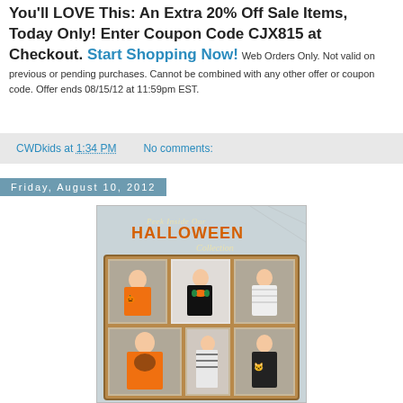You'll LOVE This: An Extra 20% Off Sale Items, Today Only! Enter Coupon Code CJX815 at Checkout. Start Shopping Now! Web Orders Only. Not valid on previous or pending purchases. Cannot be combined with any other offer or coupon code. Offer ends 08/15/12 at 11:59pm EST.
CWDkids at 1:34 PM   No comments:
Friday, August 10, 2012
[Figure (photo): Halloween collection catalog image showing children in Halloween-themed clothing inside a wooden frame grid layout. Text reads 'Peek Inside Our HALLOWEEN Collection'. Children are wearing orange, black, and white Halloween-themed sweaters and outfits.]